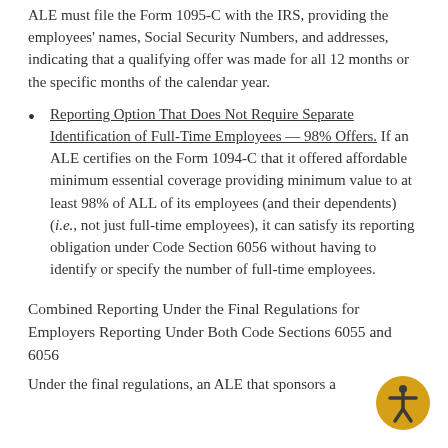ALE must file the Form 1095-C with the IRS, providing the employees' names, Social Security Numbers, and addresses, indicating that a qualifying offer was made for all 12 months or the specific months of the calendar year.
Reporting Option That Does Not Require Separate Identification of Full-Time Employees — 98% Offers. If an ALE certifies on the Form 1094-C that it offered affordable minimum essential coverage providing minimum value to at least 98% of ALL of its employees (and their dependents) (i.e., not just full-time employees), it can satisfy its reporting obligation under Code Section 6056 without having to identify or specify the number of full-time employees.
Combined Reporting Under the Final Regulations for Employers Reporting Under Both Code Sections 6055 and 6056
Under the final regulations, an ALE that sponsors a